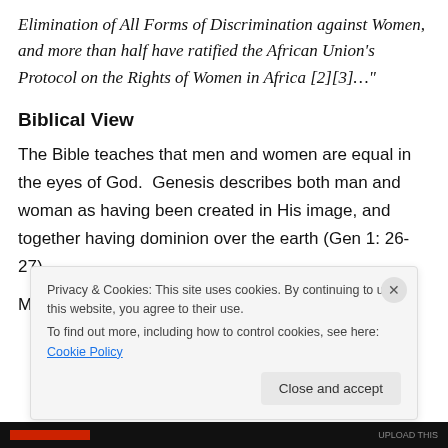Elimination of All Forms of Discrimination against Women, and more than half have ratified the African Union's Protocol on the Rights of Women in Africa [2][3]…"
Biblical View
The Bible teaches that men and women are equal in the eyes of God.  Genesis describes both man and woman as having been created in His image, and together having dominion over the earth (Gen 1: 26-27).
Male hierarchy over women was not in God's original
Privacy & Cookies: This site uses cookies. By continuing to use this website, you agree to their use.
To find out more, including how to control cookies, see here: Cookie Policy